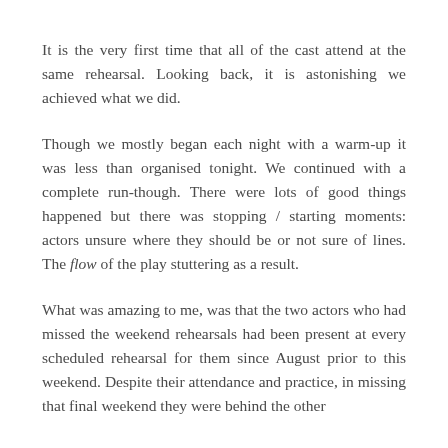It is the very first time that all of the cast attend at the same rehearsal. Looking back, it is astonishing we achieved what we did.
Though we mostly began each night with a warm-up it was less than organised tonight. We continued with a complete run-though. There were lots of good things happened but there was stopping / starting moments: actors unsure where they should be or not sure of lines. The flow of the play stuttering as a result.
What was amazing to me, was that the two actors who had missed the weekend rehearsals had been present at every scheduled rehearsal for them since August prior to this weekend. Despite their attendance and practice, in missing that final weekend they were behind the other